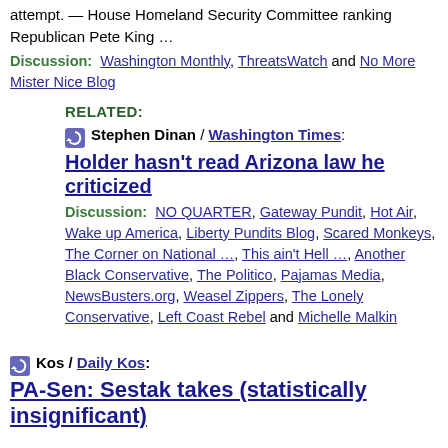attempt. — House Homeland Security Committee ranking Republican Pete King …
Discussion: Washington Monthly, ThreatsWatch and No More Mister Nice Blog
RELATED:
Stephen Dinan / Washington Times:
Holder hasn't read Arizona law he criticized
Discussion: NO QUARTER, Gateway Pundit, Hot Air, Wake up America, Liberty Pundits Blog, Scared Monkeys, The Corner on National …, This ain't Hell …, Another Black Conservative, The Politico, Pajamas Media, NewsBusters.org, Weasel Zippers, The Lonely Conservative, Left Coast Rebel and Michelle Malkin
Kos / Daily Kos:
PA-Sen: Sestak takes (statistically insignificant)